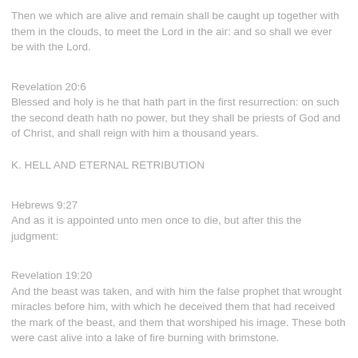Then we which are alive and remain shall be caught up together with them in the clouds, to meet the Lord in the air: and so shall we ever be with the Lord.
Revelation 20:6
Blessed and holy is he that hath part in the first resurrection: on such the second death hath no power, but they shall be priests of God and of Christ, and shall reign with him a thousand years.
K. HELL AND ETERNAL RETRIBUTION
Hebrews 9:27
And as it is appointed unto men once to die, but after this the judgment:
Revelation 19:20
And the beast was taken, and with him the false prophet that wrought miracles before him, with which he deceived them that had received the mark of the beast, and them that worshiped his image. These both were cast alive into a lake of fire burning with brimstone.